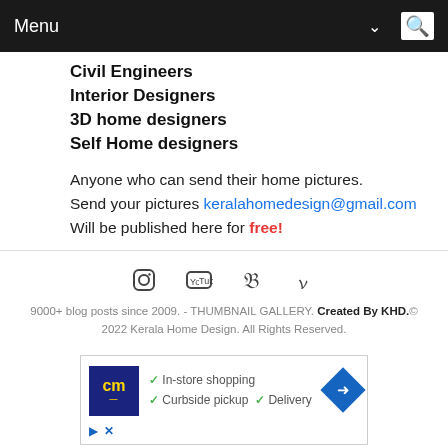Menu
Civil Engineers
Interior Designers
3D home designers
Self Home designers
Anyone who can send their home pictures. Send your pictures keralahomedesign@gmail.com Will be published here for free!
Social icons: Instagram, YouTube, Twitter, Facebook
9000+ blog posts since 2009. - THUMBNAIL GALLERY. Created By KHD. © 2022 Kerala Home Design. All Rights Reserved.
[Figure (other): Advertisement banner with cm logo, checkmarks for In-store shopping, Curbside pickup, Delivery, and a blue diamond arrow icon]